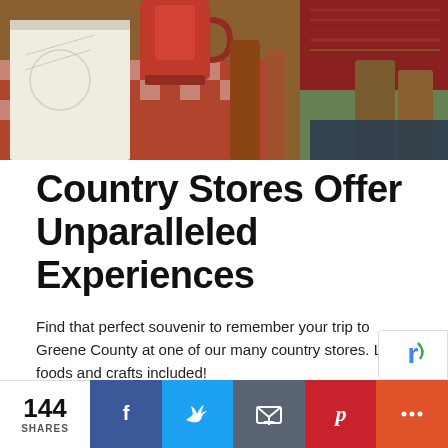[Figure (photo): Hero photo of country store items: a sketchbook, red mug, wooden items, and colorful knitted/woven crafts on a red and white checkered surface]
Country Stores Offer Unparalleled Experiences
Find that perfect souvenir to remember your trip to Greene County at one of our many country stores. Local foods and crafts included!
RUSTIC CHARMS THIS WAY
144 SHARES | Facebook | Twitter | Email | Pinterest | More